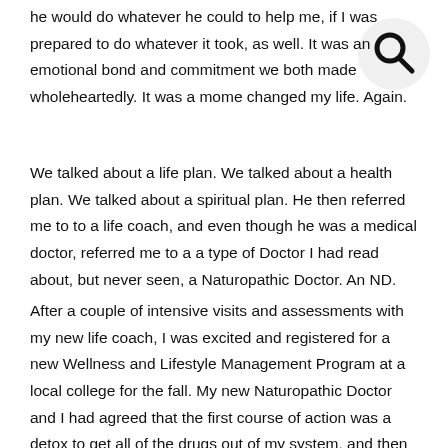he would do whatever he could to help me, if I was prepared to do whatever it took, as well. It was an emotional bond and commitment we both made wholeheartedly. It was a moment that changed my life. Again.
We talked about a life plan. We talked about a health plan. We talked about a spiritual plan. He then referred me to to a life coach, and even though he was a medical doctor, referred me to a a type of Doctor I had read about, but never seen, a Naturopathic Doctor. An ND.
After a couple of intensive visits and assessments with my new life coach, I was excited and registered for a new Wellness and Lifestyle Management Program at a local college for the fall. My new Naturopathic Doctor and I had agreed that the first course of action was a detox to get all of the drugs out of my system, and then a new diet plan that was organic and clean to rebuild my system. I started a workout program to get some strength back into my body and had begun some meditation too and